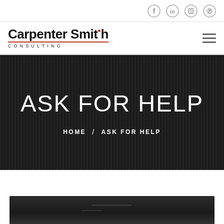Social icons: Facebook, LinkedIn, Instagram, Pinterest
[Figure (logo): Carpenter Smith Consulting logo with red dot and red underline]
ASK FOR HELP
HOME / ASK FOR HELP
[Figure (photo): Dark background image strip at the bottom of the page]